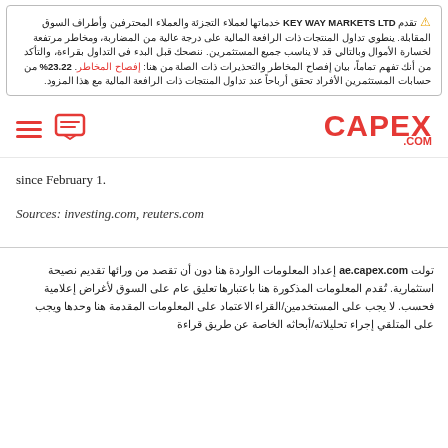⚠ تقدم KEY WAY MARKETS LTD خدماتها لعملاء التجزئة والعملاء المحترفين وأطراف السوق المقابلة. ينطوي تداول المنتجات ذات الرافعة المالية على درجة عالية من المضاربة، ومخاطر مرتفعة لخسارة الأموال وبالتالي قد لا يناسب جميع المستثمرين. ننصحك قبل البدء في التداول بقراءة، والتأكد من أنك تفهم تماماً، بيان إفصاح المخاطر والتحذيرات ذات الصلة من هنا: إفصاح المخاطر. 23.22% من حسابات المستثمرين الأفراد تحقق أرباحاً عند تداول المنتجات ذات الرافعة المالية مع هذا المزود.
[Figure (logo): CAPEX.com navigation bar with hamburger menu, chat icon, and CAPEX.com red logo]
since February 1.
Sources: investing.com, reuters.com
تولت ae.capex.com إعداد المعلومات الواردة هنا دون أن تقصد من ورائها تقديم نصيحة استثمارية. تُقدم المعلومات المذكورة هنا باعتبارها تعليق عام على السوق لأغراض إعلامية فحسب. لا يجب على المستخدمين/القراء الاعتماد على المعلومات المقدمة هنا وحدها ويجب على المتلقي إجراء تحليلاته/أبحاثه الخاصة عن طريق قراءة الأعمال الأساسية نفسها.